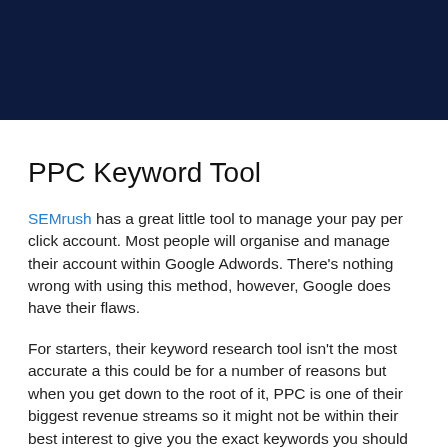[Figure (photo): Dark navy blue banner image at the top of the page]
PPC Keyword Tool
SEMrush has a great little tool to manage your pay per click account. Most people will organise and manage their account within Google Adwords. There's nothing wrong with using this method, however, Google does have their flaws.
For starters, their keyword research tool isn't the most accurate a this could be for a number of reasons but when you get down to the root of it, PPC is one of their biggest revenue streams so it might not be within their best interest to give you the exact keywords you should be targeting that will convert well as the more clicks Google gets the